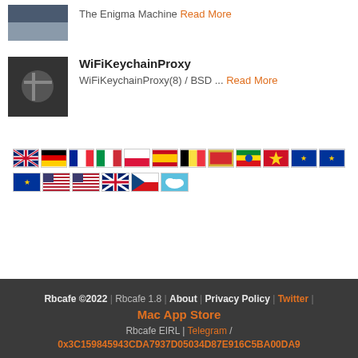The Enigma Machine Read More
WiFiKeychainProxy — WiFiKeychainProxy(8) / BSD ... Read More
[Figure (infographic): Two rows of national flag icons representing different language/region options]
Rbcafe ©2022 | Rbcafe 1.8 | About | Privacy Policy | Twitter | Mac App Store
Rbcafe EIRL | Telegram /
0x3C159845943CDA7937D05034D87E916C5BA00DA9